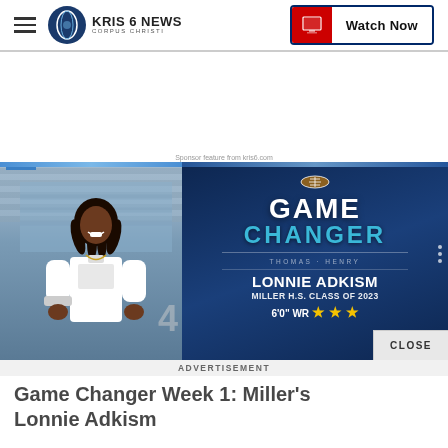KRIS 6 NEWS CORPUS CHRISTI — Watch Now
[Figure (screenshot): KRIS 6 News Corpus Christi website screenshot showing a Game Changer feature for Lonnie Adkism, Miller H.S. Class of 2023, 6'0" WR with 3 stars. Left side shows athlete photo, right side shows navy blue Game Changer graphic with Thomas Henry sponsor.]
Sponsor feature from kris6.com
ADVERTISEMENT
Game Changer Week 1: Miller's Lonnie Adkism